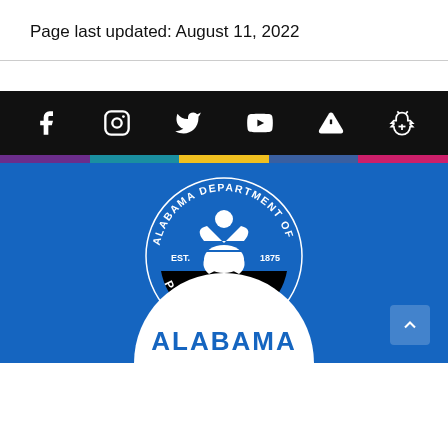Page last updated: August 11, 2022
[Figure (infographic): Social media icon bar with Facebook, Instagram, Twitter, YouTube, Alert, and Bug icons on black background]
[Figure (logo): Alabama Department of Public Health seal on blue background, EST. 1875, with white figure and PUBLIC HEALTH arc text, and Alabama text in white arc at bottom]